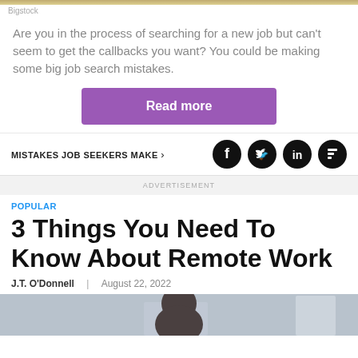Bigstock
Are you in the process of searching for a new job but can't seem to get the callbacks you want? You could be making some big job search mistakes.
Read more
MISTAKES JOB SEEKERS MAKE ›
ADVERTISEMENT
POPULAR
3 Things You Need To Know About Remote Work
J.T. O'Donnell  |  August 22, 2022
[Figure (photo): Partial photo of a person from behind/above, dark hair visible, blurred office background]